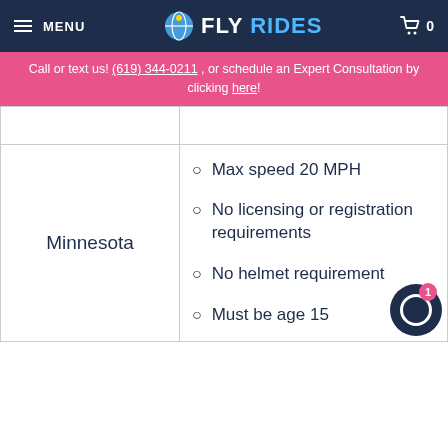MENU | FLY RIDES | 0
Call or text us! (619) 344-0211 , or schedule an Expert Consultation by clicking here!
| State | Rules |
| --- | --- |
|  |  |
| Minnesota | Max speed 20 MPH
No licensing or registration requirements
No helmet requirement
Must be age 15 |